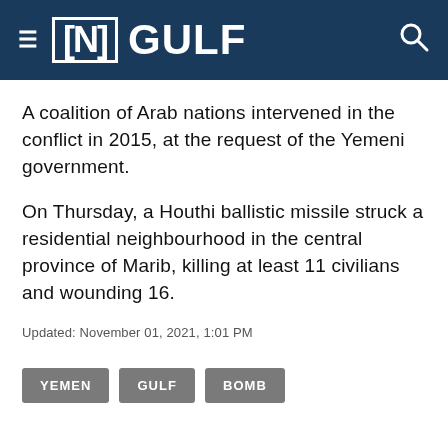≡ [N] GULF
A coalition of Arab nations intervened in the conflict in 2015, at the request of the Yemeni government.
On Thursday, a Houthi ballistic missile struck a residential neighbourhood in the central province of Marib, killing at least 11 civilians and wounding 16.
Updated: November 01, 2021, 1:01 PM
YEMEN
GULF
BOMB